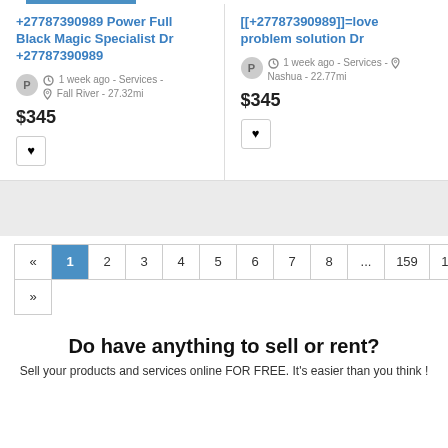+27787390989 Power Full Black Magic Specialist Dr +27787390989
P | 1 week ago - Services - Fall River - 27.32mi
$345
[[+27787390989]]=love problem solution Dr
P | 1 week ago - Services - Nashua - 22.77mi
$345
« 1 2 3 4 5 6 7 8 ... 159 160
»
Do have anything to sell or rent?
Sell your products and services online FOR FREE. It's easier than you think !